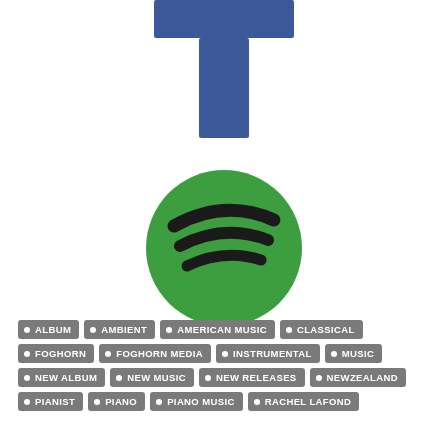[Figure (logo): Blue letter T logo (Tumblr-style) at top center]
[Figure (logo): Spotify green circle logo with three black sound wave arcs]
ALBUM • AMBIENT • AMERICAN MUSIC • CLASSICAL
FOGHORN • FOGHORN MEDIA • INSTRUMENTAL • MUSIC
NEW ALBUM • NEW MUSIC • NEW RELEASES • NEWZEALAND
PIANIST • PIANO • PIANO MUSIC • RACHEL LAFOND